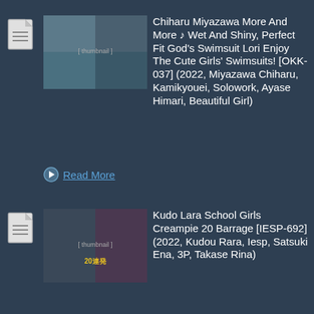[Figure (illustration): Document/file icon, top-left of first entry]
[Figure (photo): Thumbnail image for first entry showing swimsuit content]
Chiharu Miyazawa More And More ♪ Wet And Shiny, Perfect Fit God's Swimsuit Lori Enjoy The Cute Girls' Swimsuits! [OKK-037] (2022, Miyazawa Chiharu, Kamikyouei, Solowork, Ayase Himari, Beautiful Girl)
Read More
[Figure (illustration): Document/file icon, top-left of second entry]
[Figure (photo): Thumbnail image for second entry showing school uniform content]
Kudo Lara School Girls Creampie 20 Barrage [IESP-692] (2022, Kudou Rara, Iesp, Satsuki Ena, 3P, Takase Rina)